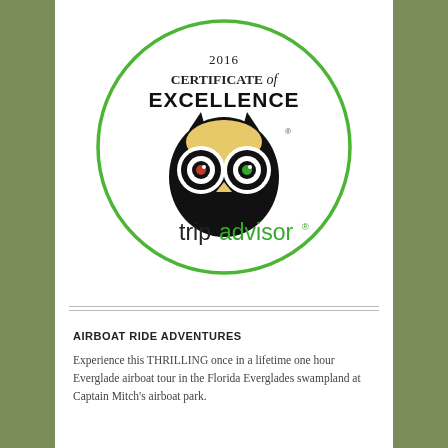[Figure (logo): TripAdvisor 2016 Certificate of Excellence badge with green circle border, owl logo, and tripadvisor text in black and green]
AIRBOAT RIDE ADVENTURES
Experience this THRILLING once in a lifetime one hour Everglade airboat tour in the Florida Everglades swampland at Captain Mitch's airboat park.